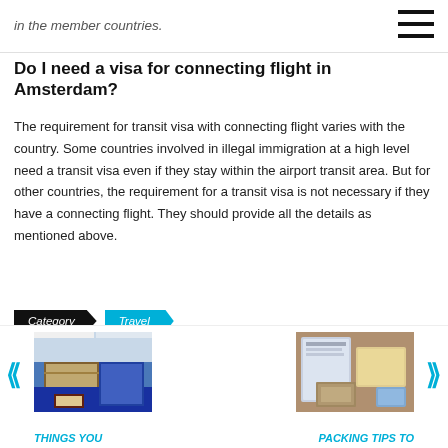in the member countries.
Do I need a visa for connecting flight in Amsterdam?
The requirement for transit visa with connecting flight varies with the country. Some countries involved in illegal immigration at a high level need a transit visa even if they stay within the airport transit area. But for other countries, the requirement for a transit visa is not necessary if they have a connecting flight. They should provide all the details as mentioned above.
Category   Travel
[Figure (photo): Left thumbnail image of a hotel room with blue couch and wooden furniture]
[Figure (photo): Right thumbnail image of travel documents, passport, and map on a table]
THINGS YOU
Packing Tips to